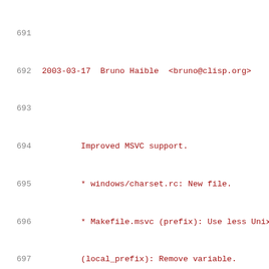691
692  2003-03-17  Bruno Haible  <bruno@clisp.org>
693
694          Improved MSVC support.
695          * windows/charset.rc: New file.
696          * Makefile.msvc (prefix): Use less Unix
697          (local_prefix): Remove variable.
698          (libdir, includedir): Use backslashes.
699          (bindir): New variable.
700          (mandir): Remove variable.
701          (INSTALL, INSTALL_PROGRAM, INSTALL_DATA
702          (mostlyclean, clean): Remove config.h a
703          (install, installdirs, uninstall): Rewr
704          * README.woe32: Mention automatic insta
705
706          Rename libcharset.h to localcharset.h.
707          * include/localcharset.h.in: Renamed fr
708          * tools/locale_charset.c: Include local
709          * Makefile.in (include/localcharset.h):
710          include/libcharset.h.
711          (all): Update dependency.
712          (install_lib, install_uninstall_di